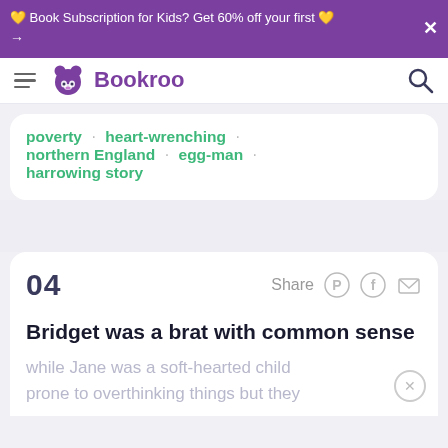📚 Book Subscription for Kids? Get 60% off your first 📚 →
Bookroo
poverty · heart-wrenching · northern England · egg-man · harrowing story
04  Share
Bridget was a brat with common sense
while Jane was a soft-hearted child prone to overthinking things but they